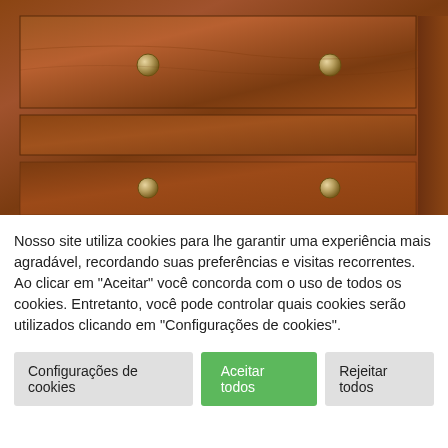[Figure (photo): Close-up photo of a wooden chest of drawers with ornate metal knobs, showing the top large drawer and two smaller drawers below, warm brown wood grain texture.]
Nosso site utiliza cookies para lhe garantir uma experiência mais agradável, recordando suas preferências e visitas recorrentes. Ao clicar em "Aceitar" você concorda com o uso de todos os cookies. Entretanto, você pode controlar quais cookies serão utilizados clicando em "Configurações de cookies".